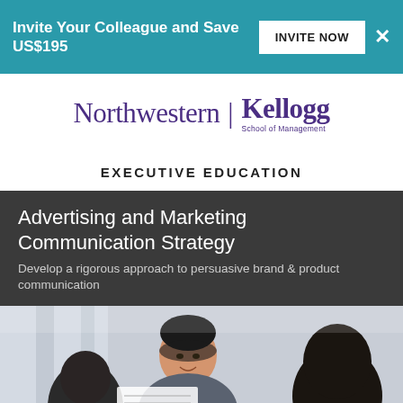Invite Your Colleague and Save US$195 | INVITE NOW ×
[Figure (logo): Northwestern | Kellogg School of Management logo]
EXECUTIVE EDUCATION
Advertising and Marketing Communication Strategy
Develop a rigorous approach to persuasive brand & product communication
[Figure (photo): Three professionals collaborating, looking at a document, in a bright office setting]